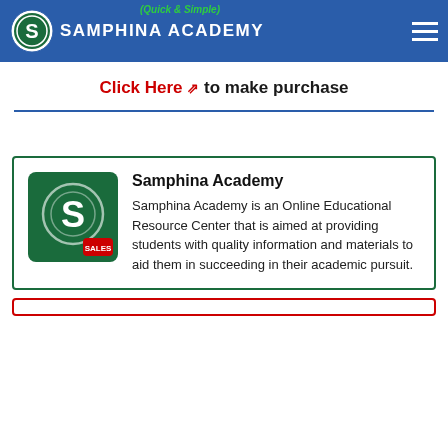Samphina Academy (Quick & Simple)
Click Here ↗ to make purchase
[Figure (logo): Samphina Academy logo: dark green square with white S and circular design, red sales badge]
Samphina Academy
Samphina Academy is an Online Educational Resource Center that is aimed at providing students with quality information and materials to aid them in succeeding in their academic pursuit.